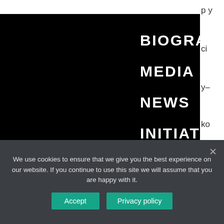BIOGRAPHY
MEDIA
NEWS
INITIATIVES
ARCHIVE
CONTACT
[Figure (screenshot): Blue decorative banner with chevron/arrow pattern and navigation arrow buttons]
We use cookies to ensure that we give you the best experience on our website. If you continue to use this site we will assume that you are happy with it.
Accept
Privacy policy